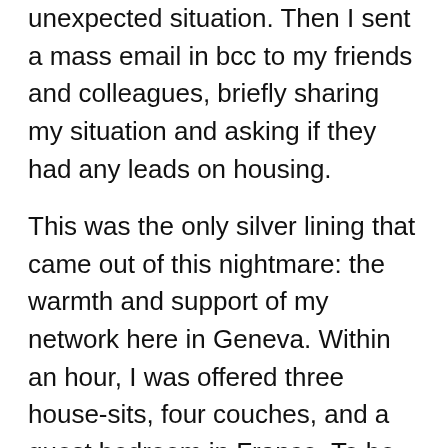unexpected situation. Then I sent a mass email in bcc to my friends and colleagues, briefly sharing my situation and asking if they had any leads on housing.
This was the only silver lining that came out of this nightmare: the warmth and support of my network here in Geneva. Within an hour, I was offered three house-sits, four couches, and a guest bedroom in France. To be honest, I don't think I even had more than one or two friends like this back in DC. I've always been a lone wolf, but this experience — and this year, really — has shifted my perspective on the value of community.